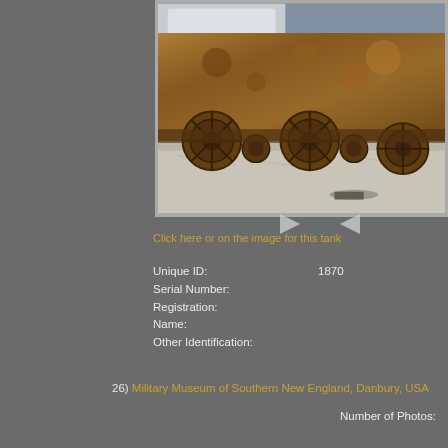[Figure (photo): Close-up photograph of a heavily rusted and deteriorated military tank, showing corroded road wheels, track components, and lower hull. A white vehicle is partially visible in the background. The tank is sitting on a concrete surface.]
Click here or on the image for this tank
Unique ID:    1870
Serial Number:
Registration:
Name:
Other Identification:
26) Military Museum of Southern New England, Danbury, USA
Number of Photos: